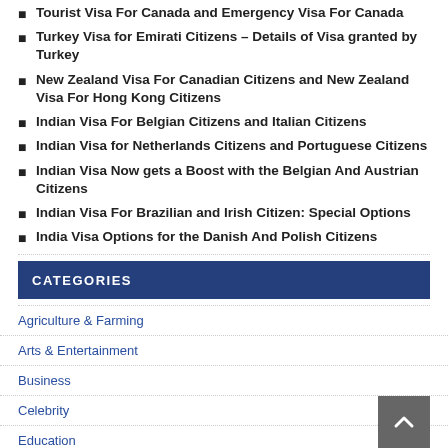Tourist Visa For Canada and Emergency Visa For Canada
Turkey Visa for Emirati Citizens – Details of Visa granted by Turkey
New Zealand Visa For Canadian Citizens and New Zealand Visa For Hong Kong Citizens
Indian Visa For Belgian Citizens and Italian Citizens
Indian Visa for Netherlands Citizens and Portuguese Citizens
Indian Visa Now gets a Boost with the Belgian And Austrian Citizens
Indian Visa For Brazilian and Irish Citizen: Special Options
India Visa Options for the Danish And Polish Citizens
CATEGORIES
Agriculture & Farming
Arts & Entertainment
Business
Celebrity
Education